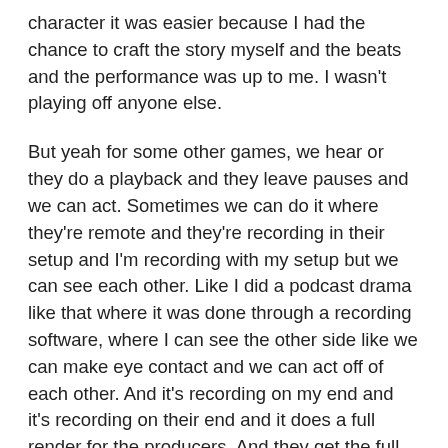character it was easier because I had the chance to craft the story myself and the beats and the performance was up to me. I wasn't playing off anyone else.
But yeah for some other games, we hear or they do a playback and they leave pauses and we can act. Sometimes we can do it where they're remote and they're recording in their setup and I'm recording with my setup but we can see each other. Like I did a podcast drama like that where it was done through a recording software, where I can see the other side like we can make eye contact and we can act off of each other. And it's recording on my end and it's recording on their end and it does a full render for the producers. And they get the full audio file. But ideally you want to be in the same room.